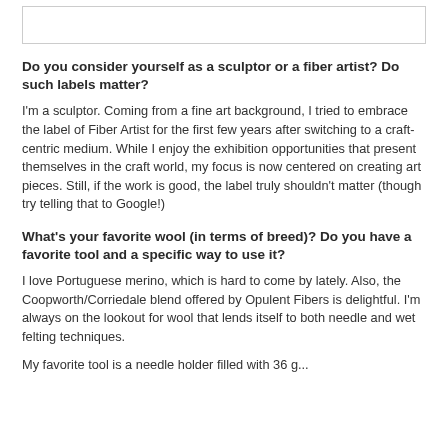[Figure (other): Blank/white image box at top of page]
Do you consider yourself as a sculptor or a fiber artist? Do such labels matter?
I'm a sculptor. Coming from a fine art background, I tried to embrace the label of Fiber Artist for the first few years after switching to a craft-centric medium. While I enjoy the exhibition opportunities that present themselves in the craft world, my focus is now centered on creating art pieces. Still, if the work is good, the label truly shouldn't matter (though try telling that to Google!)
What's your favorite wool (in terms of breed)? Do you have a favorite tool and a specific way to use it?
I love Portuguese merino, which is hard to come by lately. Also, the Coopworth/Corriedale blend offered by Opulent Fibers is delightful. I'm always on the lookout for wool that lends itself to both needle and wet felting techniques.
My favorite tool is a needle holder filled with 36 g...